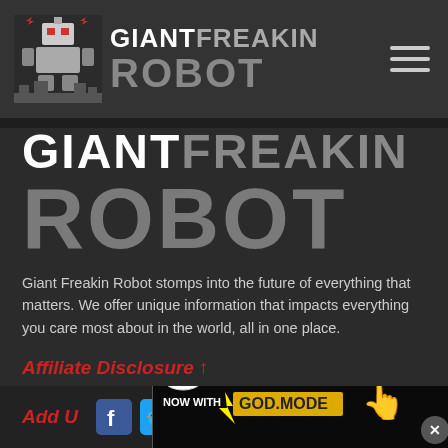GIANT FREAKIN ROBOT
GIANT FREAKIN ROBOT
Giant Freakin Robot stomps into the future of everything that matters. We offer unique information that impacts everything you care most about in the world, all in one place.
Affiliate Disclosure ↑
Giant Freakin Robot may get a commission from retail offers.
Add Us
[Figure (screenshot): BitLife advertisement banner: 'BitLife NOW WITH GOD MODE' with illustrated hand pointing]
[Figure (logo): Giant Freakin Robot robot pixel-art logo icon]